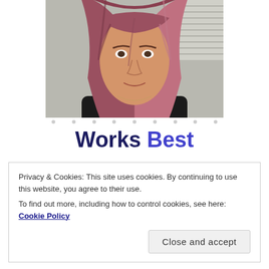[Figure (photo): A person with long pink/mauve dyed hair wearing a black top, photographed from shoulders up indoors near a window with blinds.]
Works Best
Privacy & Cookies: This site uses cookies. By continuing to use this website, you agree to their use.
To find out more, including how to control cookies, see here: Cookie Policy
Close and accept